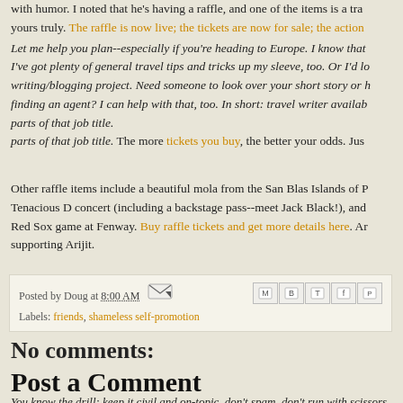with humor. I noted that he's having a raffle, and one of the items is a tra... yours truly. The raffle is now live; the tickets are now for sale; the action... Let me help you plan--especially if you're heading to Europe. I know that... I've got plenty of general travel tips and tricks up my sleeve, too. Or I'd l... writing/blogging project. Need someone to look over your short story or ... finding an agent? I can help with that, too. In short: travel writer availab... parts of that job title. The more tickets you buy, the better your odds. Jus...
Other raffle items include a beautiful mola from the San Blas Islands of P... Tenacious D concert (including a backstage pass--meet Jack Black!), and... Red Sox game at Fenway. Buy raffle tickets and get more details here. An... supporting Arijit.
Posted by Doug at 8:00 AM
Labels: friends, shameless self-promotion
No comments:
Post a Comment
You know the drill: keep it civil and on-topic, don't spam, don't run with scissors... works, comments will be moderated before publication.